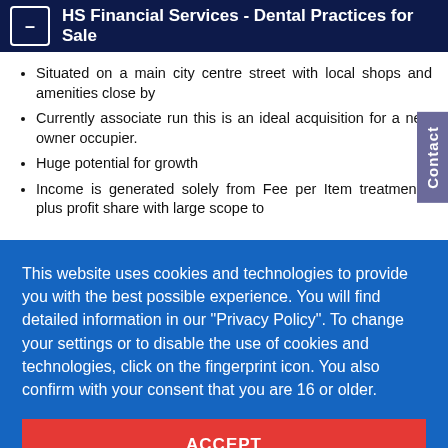HS Financial Services - Dental Practices for Sale
Situated on a main city centre street with local shops and amenities close by
Currently associate run this is an ideal acquisition for a new owner occupier.
Huge potential for growth
Income is generated solely from Fee per Item treatments, plus profit share with large scope to
This website uses cookies and technologies to provide you with the best possible experience. You will find detailed information in our "Privacy Policy". To change your settings or to disable the use of cookies and technologies, click on the fingerprint icon. You also confirm with your consent that you are 16 or older.
ACCEPT
MORE